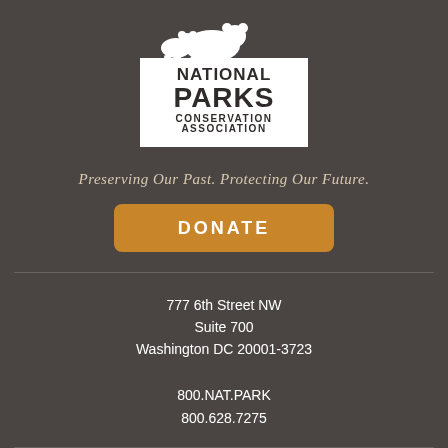[Figure (logo): National Parks Conservation Association logo: white box with bear silhouettes on top, bold text reading NATIONAL PARKS Conservation Association]
Preserving Our Past. Protecting Our Future.
DONATE
777 6th Street NW
Suite 700
Washington DC 20001-3723
800.NAT.PARK
800.628.7275